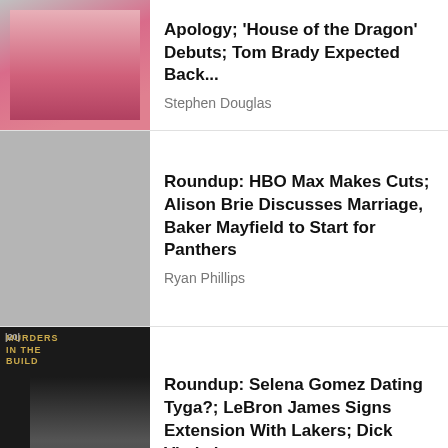[Figure (photo): Woman in pink dress outdoors, cityscape background]
Apology; 'House of the Dragon' Debuts; Tom Brady Expected Back...
Stephen Douglas
[Figure (photo): Blurred/gray placeholder image]
Roundup: HBO Max Makes Cuts; Alison Brie Discusses Marriage, Baker Mayfield to Start for Panthers
Ryan Phillips
[Figure (photo): Woman in silver dress at Murders in the Building / Hulu event]
Roundup: Selena Gomez Dating Tyga?; LeBron James Signs Extension With Lakers; Dick Vitale i...
Kyle Koster
[Figure (logo): TBL logo in white and cyan on dark background]
About
Privacy Policy
Terms of service
Cookie Policy
Contact Us
Accessibility Statement